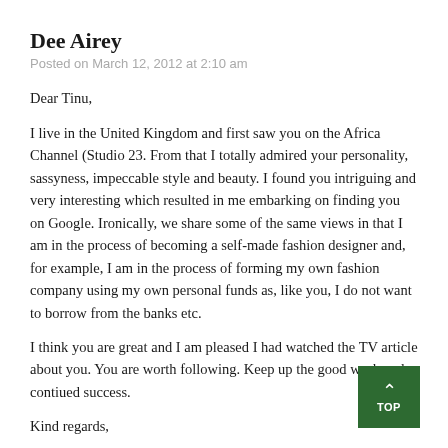Dee Airey
Posted on March 12, 2012 at 2:10 am
Dear Tinu,
I live in the United Kingdom and first saw you on the Africa Channel (Studio 23. From that I totally admired your personality, sassyness, impeccable style and beauty. I found you intriguing and very interesting which resulted in me embarking on finding you on Google. Ironically, we share some of the same views in that I am in the process of becoming a self-made fashion designer and, for example, I am in the process of forming my own fashion company using my own personal funds as, like you, I do not want to borrow from the banks etc.
I think you are great and I am pleased I had watched the TV article about you. You are worth following. Keep up the good work and contiued success.
Kind regards,
Delores Airey